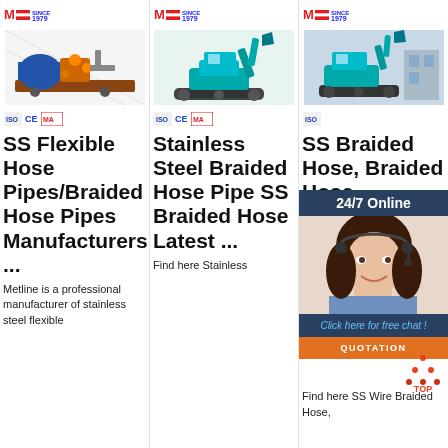[Figure (screenshot): Product listing page showing three columns with machinery products (hydraulic pump, excavator) with logos, certification badges, product titles, and a 24/7 online chat overlay with agent photo and QUOTATION button]
SS Flexible Hose Pipes/Braided Hose Pipes Manufacturers ...
Stainless Steel Braided Hose Pipe SS Braided Hose Latest ...
SS Braided Hose, Braided Hose
Metline is a professional manufacturer of stainless steel flexible
Find here Stainless
Find here SS Wire Braided Hose,